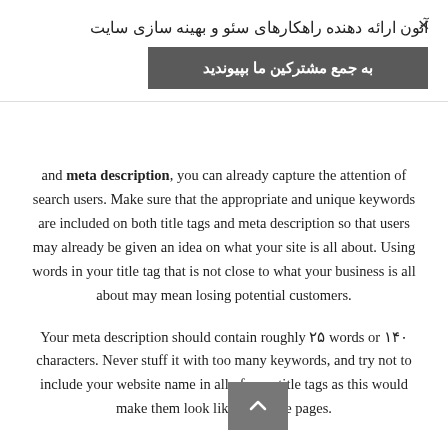×
آتون ارائه دهنده راهکارهای سئو و بهینه سازی سایت
به جمع مشترکین ما بپیوندید
and meta description, you can already capture the attention of search users. Make sure that the appropriate and unique keywords are included on both title tags and meta description so that users may already be given an idea on what your site is all about. Using words in your title tag that is not close to what your business is all about may mean losing potential customers.
Your meta description should contain roughly ۲۵ words or ۱۴۰ characters. Never stuff it with too many keywords, and try not to include your website name in all of your title tags as this would make them look like duplicate pages.